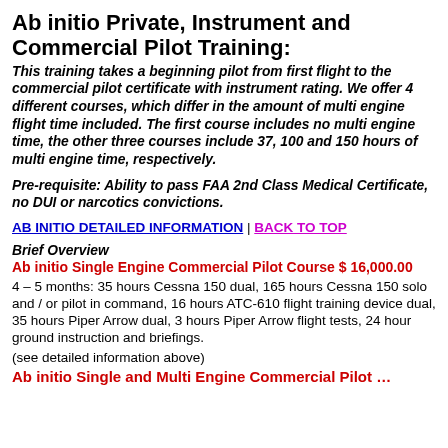Ab initio Private, Instrument and Commercial Pilot Training:
This training takes a beginning pilot from first flight to the commercial pilot certificate with instrument rating. We offer 4 different courses, which differ in the amount of multi engine flight time included. The first course includes no multi engine time, the other three courses include 37, 100 and 150 hours of multi engine time, respectively.
Pre-requisite: Ability to pass FAA 2nd Class Medical Certificate, no DUI or narcotics convictions.
AB INITIO DETAILED INFORMATION | BACK TO TOP
Brief Overview
Ab initio Single Engine Commercial Pilot Course $ 16,000.00
4 – 5 months: 35 hours Cessna 150 dual, 165 hours Cessna 150 solo and / or pilot in command, 16 hours ATC-610 flight training device dual, 35 hours Piper Arrow dual, 3 hours Piper Arrow flight tests, 24 hour ground instruction and briefings.
(see detailed information above)
Ab initio Single and Multi Engine Commercial Pilot…